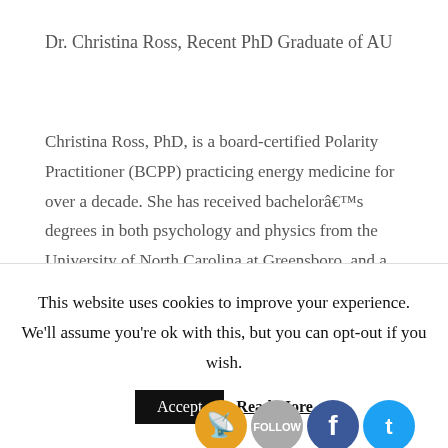Dr. Christina Ross, Recent PhD Graduate of AU
Christina Ross, PhD, is a board-certified Polarity Practitioner (BCPP) practicing energy medicine for over a decade.  She has received bachelor's degrees in both psychology and physics from the University of North Carolina at Greensboro, and a PhD in Energy Medicine from Akamai University in Hilo, Hi.  Her dissertation... research... the Wake Forest School of Medicine's Institute for
[Figure (infographic): Social media sharing icons: RSS feed (orange), Follow button (gray), Facebook (blue), Twitter (blue)]
This website uses cookies to improve your experience. We'll assume you're ok with this, but you can opt-out if you wish.
Accept   Read More